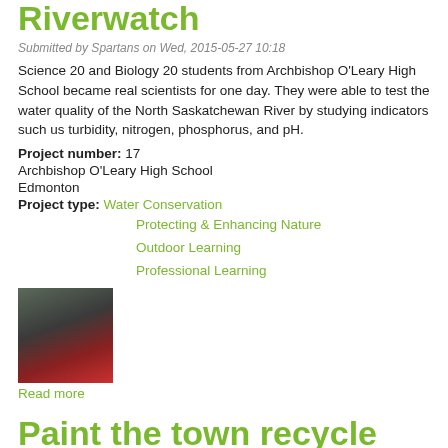Riverwatch
Submitted by Spartans on Wed, 2015-05-27 10:18
Science 20 and Biology 20 students from Archbishop O'Leary High School became real scientists for one day. They were able to test the water quality of the North Saskatchewan River by studying indicators such us turbidity, nitrogen, phosphorus, and pH.
Project number: 17
Archbishop O'Leary High School
Edmonton
Project type: Water Conservation
Protecting & Enhancing Nature
Outdoor Learning
Professional Learning
[Figure (photo): Students gathered outdoors near a river, wearing dark jackets and red gear, working on water testing activities.]
Read more
Paint the town recycle